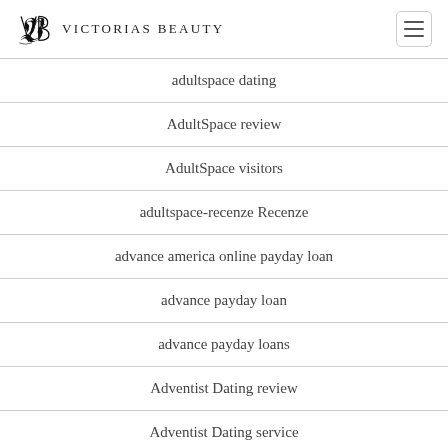Victorias Beauty
adultspace dating
AdultSpace review
AdultSpace visitors
adultspace-recenze Recenze
advance america online payday loan
advance payday loan
advance payday loans
Adventist Dating review
Adventist Dating service